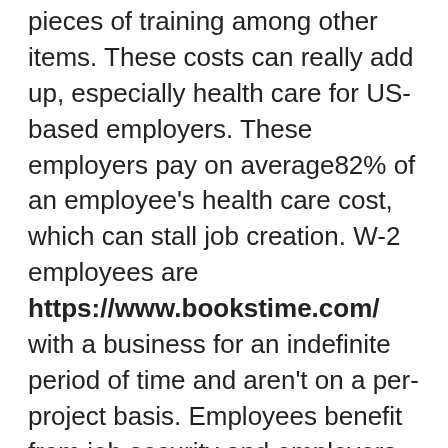pieces of training among other items. These costs can really add up, especially health care for US-based employers. These employers pay on average 82% of an employee's health care cost, which can stall job creation. W-2 employees are https://www.bookstime.com/ with a business for an indefinite period of time and aren't on a per-project basis. Employees benefit from job security and employers receive value by having consistent workers. Having consistent team members allows employers to easily delegate tasks and free up their time.
Is the relationship long-term, or does it end once the job finishes?
W-2 employees are more suitable if there is a steady supply of work.